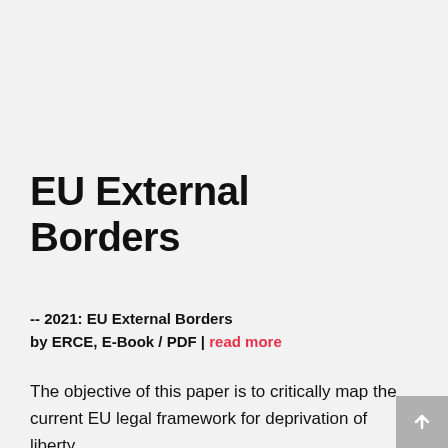EU External Borders
-- 2021: EU External Borders
by ERCE, E-Book / PDF | read more
The objective of this paper is to critically map the current EU legal framework for deprivation of liberty